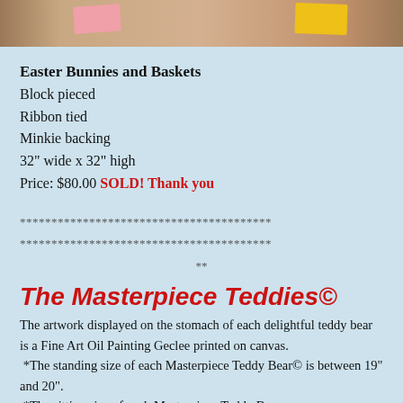[Figure (photo): Top portion of a photo showing colorful fabric items (quilts/crafts) with pink and yellow accents on a tan/brown background]
Easter Bunnies and Baskets
Block pieced
Ribbon tied
Minkie backing
32" wide x 32" high
Price: $80.00 SOLD! Thank you
************************************
************************************
**
The Masterpiece Teddies©
The artwork displayed on the stomach of each delightful teddy bear is a Fine Art Oil Painting Geclee printed on canvas.
 *The standing size of each Masterpiece Teddy Bear© is between 19" and 20".
 *The sitting size of each Masterpiece Teddy Bear is between 14" and 15".